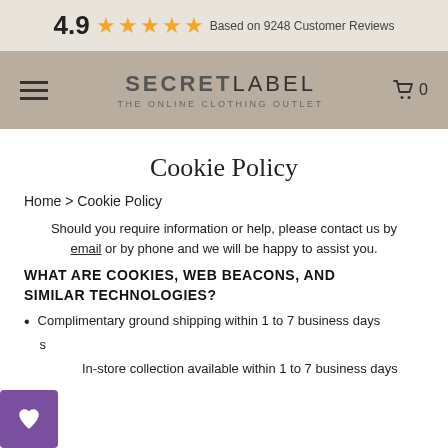4.9 ★★★★★ Based on 9248 Customer Reviews
[Figure (screenshot): Secret Label navigation bar with hamburger menu, logo 'SECRET LABEL - THE ONLINE CLOTHING OUTLET', and cart icon with 0 items]
Cookie Policy
Home > Cookie Policy
Should you require information or help, please contact us by email or by phone and we will be happy to assist you.
WHAT ARE COOKIES, WEB BEACONS, AND SIMILAR TECHNOLOGIES?
Complimentary ground shipping within 1 to 7 business days
In-store collection available within 1 to 7 business days